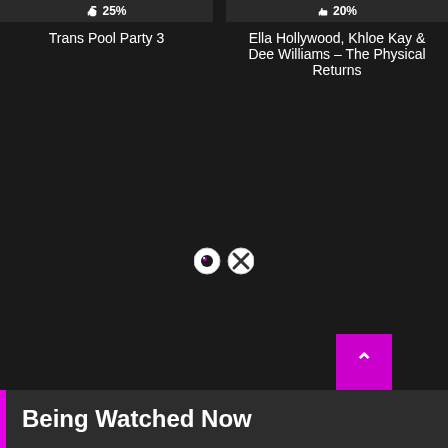👍 25%
👍 20%
Trans Pool Party 3
Ella Hollywood, Khloe Kay & Dee Williams – The Physical Returns
[Figure (other): A small emoji-style icon pair: a circular pink/white eye emoji and an X emoji, side by side]
Being Watched Now